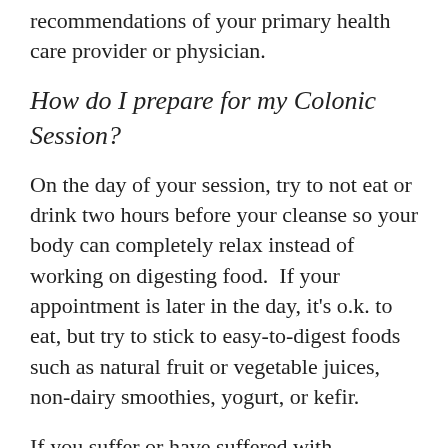recommendations of your primary health care provider or physician.
How do I prepare for my Colonic Session?
On the day of your session, try to not eat or drink two hours before your cleanse so your body can completely relax instead of working on digesting food.  If your appointment is later in the day, it’s o.k. to eat, but try to stick to easy-to-digest foods such as natural fruit or vegetable juices, non-dairy smoothies, yogurt, or kefir.
If you suffer or have suffered with constipation in the past, we